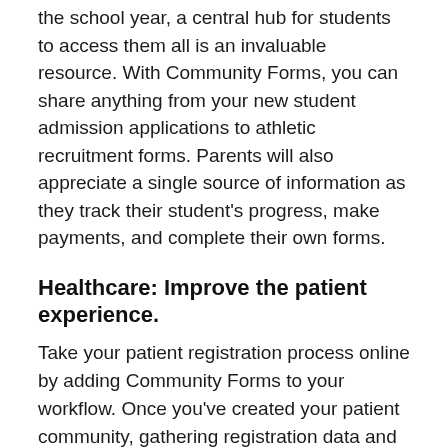the school year, a central hub for students to access them all is an invaluable resource. With Community Forms, you can share anything from your new student admission applications to athletic recruitment forms. Parents will also appreciate a single source of information as they track their student's progress, make payments, and complete their own forms.
Healthcare: Improve the patient experience.
Take your patient registration process online by adding Community Forms to your workflow. Once you've created your patient community, gathering registration data and uploading it to Salesforce takes no time at all.